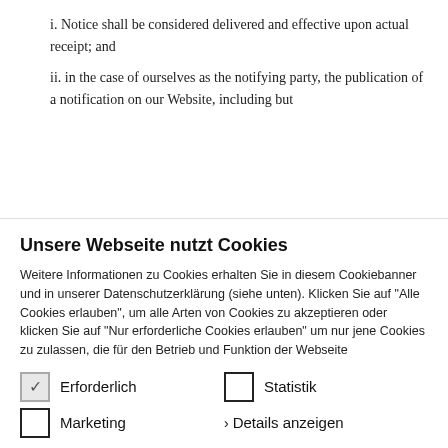i. Notice shall be considered delivered and effective upon actual receipt; and
ii. in the case of ourselves as the notifying party, the publication of a notification on our Website, including but
Unsere Webseite nutzt Cookies
Weitere Informationen zu Cookies erhalten Sie in diesem Cookiebanner und in unserer Datenschutzerklärung (siehe unten). Klicken Sie auf "Alle Cookies erlauben", um alle Arten von Cookies zu akzeptieren oder klicken Sie auf "Nur erforderliche Cookies erlauben" um nur jene Cookies zu zulassen, die für den Betrieb und Funktion der Webseite
Erforderlich
Statistik
Marketing
> Details anzeigen
Einstellungen übernehmen
Alle Cookies erlauben